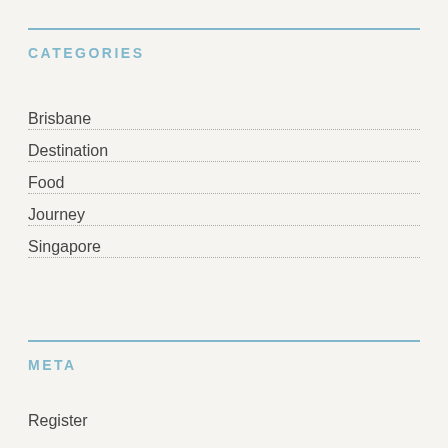CATEGORIES
Brisbane
Destination
Food
Journey
Singapore
META
Register